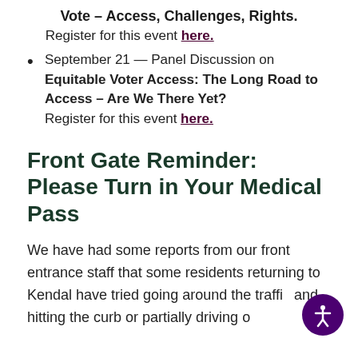Vote – Access, Challenges, Rights.
Register for this event here.
September 21 — Panel Discussion on Equitable Voter Access: The Long Road to Access – Are We There Yet? Register for this event here.
Front Gate Reminder: Please Turn in Your Medical Pass
We have had some reports from our front entrance staff that some residents returning to Kendal have tried going around the traffi… and hitting the curb or partially driving o… …